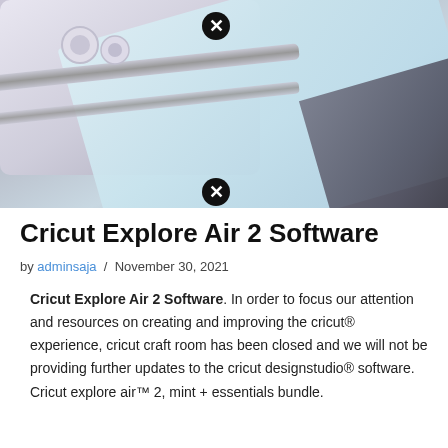[Figure (photo): Close-up photo of a Cricut Explore Air 2 cutting machine with a light blue/mint cutting mat. The machine is white/light purple with metal rails visible. A dark fabric background appears in the corner. Two circular close/X buttons are overlaid on the image.]
Cricut Explore Air 2 Software
by adminsaja / November 30, 2021
Cricut Explore Air 2 Software. In order to focus our attention and resources on creating and improving the cricut® experience, cricut craft room has been closed and we will not be providing further updates to the cricut designstudio® software. Cricut explore air™ 2, mint + essentials bundle.